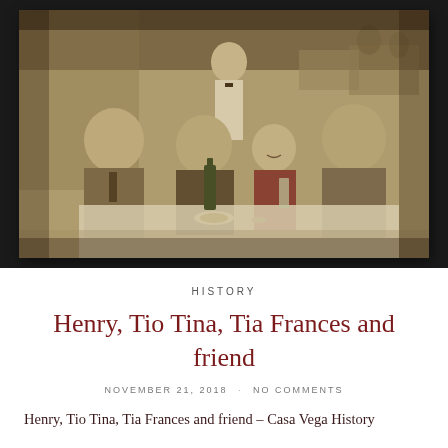[Figure (photo): Vintage sepia-toned photograph of four people seated at a restaurant table — Henry, Tio Tina, Tia Frances and a friend — with a waiter standing behind them. Bottles and dishes on the table. Restaurant interior visible in background.]
HISTORY
Henry, Tio Tina, Tia Frances and friend
NOVEMBER 21, 2018 · NO COMMENTS
Henry, Tio Tina, Tia Frances and friend – Casa Vega History